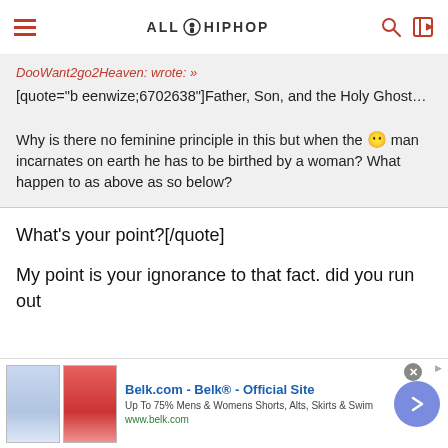ALL HIPHOP
DooWant2go2Heaven: wrote: »
[quote="beenwize;6702638"]Father, Son, and the Holy Ghost…

Why is there no feminine principle in this but when the 😶 man incarnates on earth he has to be birthed by a woman? What happen to as above as so below?
What's your point?[/quote]
My point is your ignorance to that fact. did you run out
[Figure (screenshot): Belk.com advertisement banner showing two skirt images, ad text 'Belk.com - Belk® - Official Site Up To 75% Mens & Womens Shorts, Alts, Skirts & Swim www.belk.com' with a purple arrow button and close button]